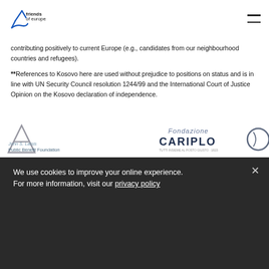friends of europe
contributing positively to current Europe (e.g., candidates from our neighbourhood countries and refugees).
**References to Kosovo here are used without prejudice to positions on status and is in line with UN Security Council resolution 1244/99 and the International Court of Justice Opinion on the Kosovo declaration of independence.
Partners
We use cookies to improve your online experience.
For more information, visit our privacy policy
John S. Latsis Public Benefit Foundation
[Figure (logo): Fondazione Cariplo logo with stylized compass/eye symbol]